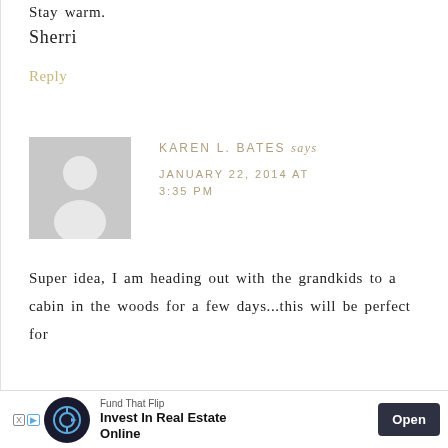Stay warm.
Sherri
Reply
KAREN L. BATES says
JANUARY 22, 2014 AT 3:35 PM
Super idea, I am heading out with the grandkids to a cabin in the woods for a few days...this will be perfect for
[Figure (other): Advertisement banner: Fund That Flip - Invest In Real Estate Online, with Open button]